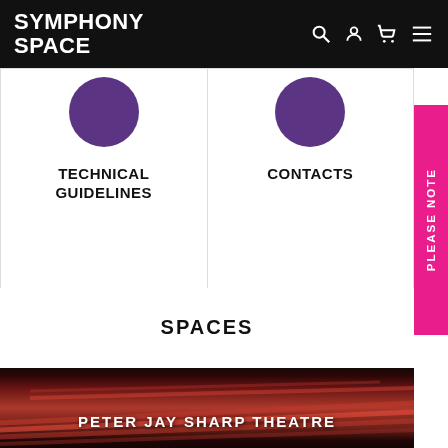SYMPHONY SPACE
TECHNICAL GUIDELINES
CONTACTS
PLEASE NOTE
SPACES
[Figure (photo): Peter Jay Sharp Theatre – rows of red seats viewed from stage level]
PETER JAY SHARP THEATRE
[Figure (photo): Leonard Nimoy Thalia – chairs and music stands on stage with blue curtain]
LEONARD NIMOY THALIA